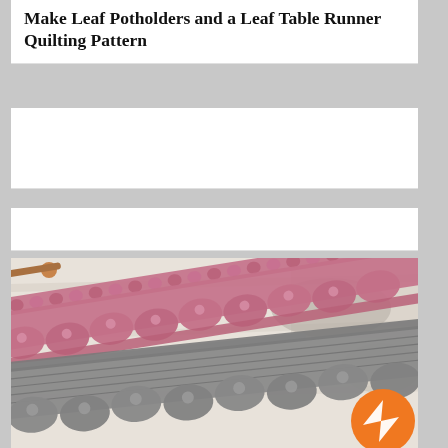Make Leaf Potholders and a Leaf Table Runner Quilting Pattern
[Figure (photo): White blank card/bar area 1]
[Figure (photo): White blank card/bar area 2]
[Figure (photo): Close-up photograph of two knitted lace edging swatches — one in pink/mauve yarn and one in gray yarn — displayed on a white weathered wood surface. Both swatches show a scallop or shell lace stitch pattern with decorative flower-like motifs. Knitting needles are visible in both swatches. An orange circular Messenger chat button is visible in the lower right corner.]